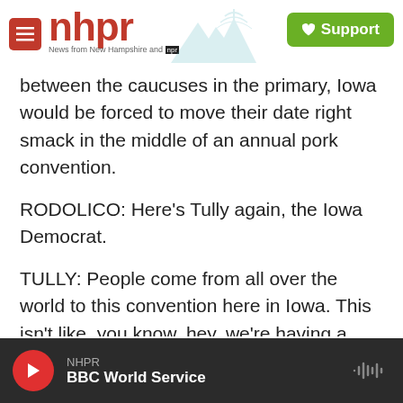nhpr — News from New Hampshire and NPR | Support
between the caucuses in the primary, Iowa would be forced to move their date right smack in the middle of an annual pork convention.
RODOLICO: Here's Tully again, the Iowa Democrat.
TULLY: People come from all over the world to this convention here in Iowa. This isn't like, you know, hey, we're having a stand, and we're going to have some barbecue, you know, pork ribs out at the fairgrounds. I mean, this thing is huge.
CHOOLIAN: But Gardner wasn't budging, and
NHPR — BBC World Service